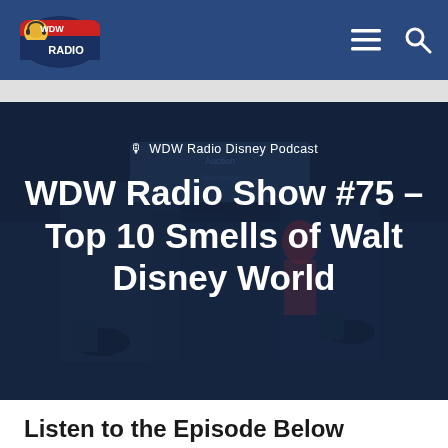WDW Radio
[Figure (logo): WDW Radio logo — cartoon character with headphones, red and blue shield design with 'WDW RADIO' text]
🎙 WDW Radio Disney Podcast
WDW Radio Show #75 – Top 10 Smells of Walt Disney World
Listen to the Episode Below